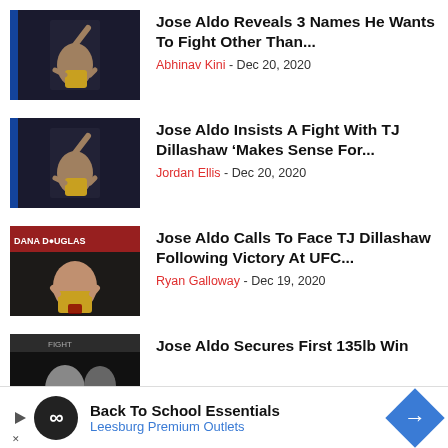Jose Aldo Reveals 3 Names He Wants To Fight Other Than... | Abhinav Kini - Dec 20, 2020
Jose Aldo Insists A Fight With TJ Dillashaw ‘Makes Sense For... | Jordan Ellis - Dec 20, 2020
Jose Aldo Calls To Face TJ Dillashaw Following Victory At UFC... | Ryan Galloway - Dec 19, 2020
Jose Aldo Secures First 135lb Win
Back To School Essentials
Leesburg Premium Outlets